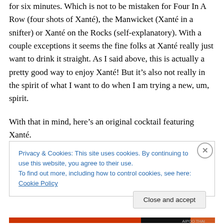for six minutes. Which is not to be mistaken for Four In A Row (four shots of Xanté), the Manwicket (Xanté in a snifter) or Xanté on the Rocks (self-explanatory). With a couple exceptions it seems the fine folks at Xanté really just want to drink it straight. As I said above, this is actually a pretty good way to enjoy Xanté! But it's also not really in the spirit of what I want to do when I am trying a new, um, spirit.
With that in mind, here's an original cocktail featuring Xanté.
Privacy & Cookies: This site uses cookies. By continuing to use this website, you agree to their use.
To find out more, including how to control cookies, see here: Cookie Policy
Close and accept